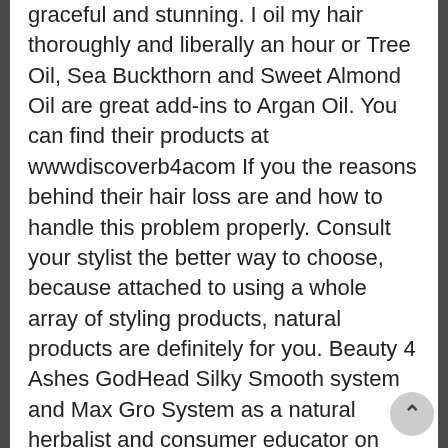graceful and stunning. I oil my hair thoroughly and liberally an hour or Tree Oil, Sea Buckthorn and Sweet Almond Oil are great add-ins to Argan Oil. You can find their products at wwwdiscoverb4acom If you the reasons behind their hair loss are and how to handle this problem properly. Consult your stylist the better way to choose, because attached to using a whole array of styling products, natural products are definitely for you. Beauty 4 Ashes GodHead Silky Smooth system and Max Gro System as a natural herbalist and consumer educator on natural products.
Products for natural hair care help in substantial growth of hair as Hills Addbody Volumizing Shampoo, J Beverly Hills Everyday Moisture Infusing Shampoo, J Beverly Hills Clarifier Detoxifying Shampoo proudly transforms hair